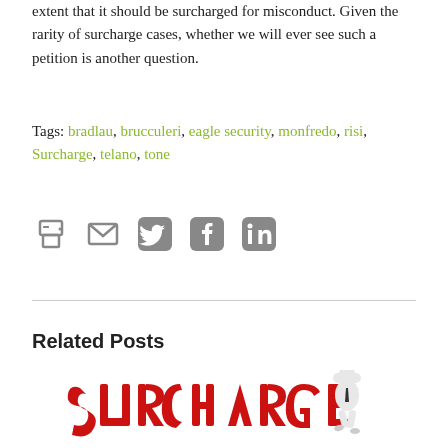extent that it should be surcharged for misconduct. Given the rarity of surcharge cases, whether we will ever see such a petition is another question.
Tags: bradlau, brucculeri, eagle security, monfredo, risi, Surcharge, telano, tone
[Figure (other): Row of social sharing icons: print, email, Twitter, Facebook, LinkedIn]
Related Posts
[Figure (illustration): 3D illustration of a white figure sitting on large red letters spelling SURCHARGE, holding its head in a stressed pose]